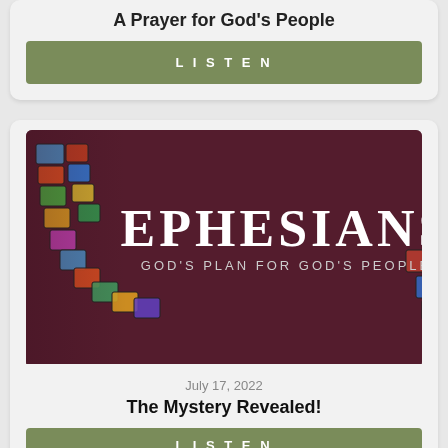A Prayer for God's People
LISTEN
[Figure (illustration): Ephesians sermon series artwork — dark burgundy/maroon background with stained glass mosaic panels arranged in an arc on the left and right side. Center text reads 'EPHESIANS' in large white serif font, below it 'GOD'S PLAN FOR GOD'S PEOPLE' in smaller spaced white letters.]
July 17, 2022
The Mystery Revealed!
LISTEN